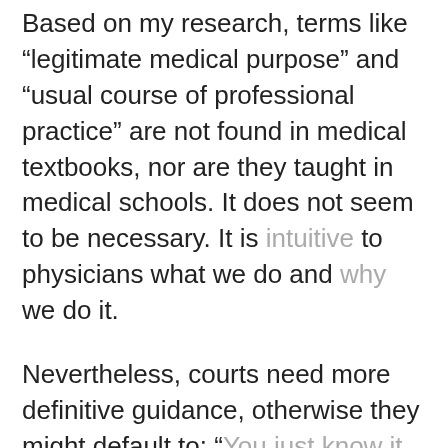Based on my research, terms like “legitimate medical purpose” and “usual course of professional practice” are not found in medical textbooks, nor are they taught in medical schools. It does not seem to be necessary. It is intuitive to physicians what we do and why we do it.
Nevertheless, courts need more definitive guidance, otherwise they might default to: “You just know it when you see it.”
I am simply not comfortable with such a vital phrase remaining so inscrutable. And as a physician, I feel the dearth of clarity surrounding the …